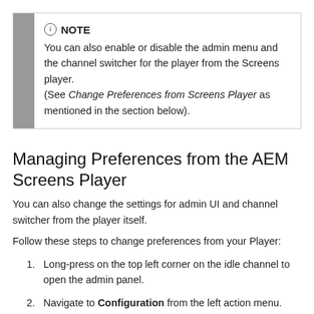NOTE
You can also enable or disable the admin menu and the channel switcher for the player from the Screens player.
(See Change Preferences from Screens Player as mentioned in the section below).
Managing Preferences from the AEM Screens Player
You can also change the settings for admin UI and channel switcher from the player itself.
Follow these steps to change preferences from your Player:
Long-press on the top left corner on the idle channel to open the admin panel.
Navigate to Configuration from the left action menu.